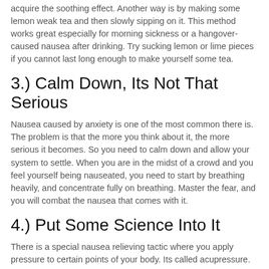acquire the soothing effect. Another way is by making some lemon weak tea and then slowly sipping on it. This method works great especially for morning sickness or a hangover-caused nausea after drinking. Try sucking lemon or lime pieces if you cannot last long enough to make yourself some tea.
3.) Calm Down, Its Not That Serious
Nausea caused by anxiety is one of the most common there is. The problem is that the more you think about it, the more serious it becomes. So you need to calm down and allow your system to settle. When you are in the midst of a crowd and you feel yourself being nauseated, you need to start by breathing heavily, and concentrate fully on breathing. Master the fear, and you will combat the nausea that comes with it.
4.) Put Some Science Into It
There is a special nausea relieving tactic where you apply pressure to certain points of your body. Its called acupressure.